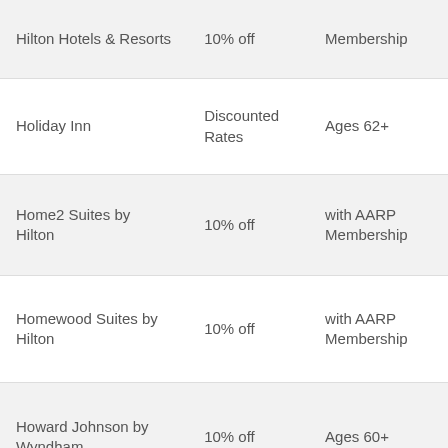| Hotel | Discount | Eligibility |
| --- | --- | --- |
| Hilton Hotels & Resorts | 10% off | Membership |
| Holiday Inn | Discounted Rates | Ages 62+ |
| Home2 Suites by Hilton | 10% off | with AARP Membership |
| Homewood Suites by Hilton | 10% off | with AARP Membership |
| Howard Johnson by Wyndham | 10% off | Ages 60+ |
| Hyatt Senior Discounts | 50% off | Ages 62+ |
| IHG Hotels & Resorts | Senior Rates | Ages 62+ |
| InterContinental Hotels |  |  |